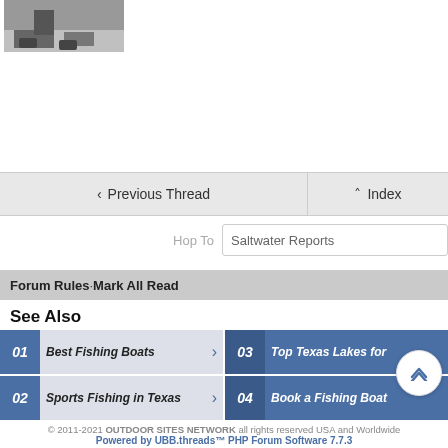[Figure (photo): Partial photo of a person's feet/shoes on a light surface with some equipment visible]
< Previous Thread   ^ Index
Hop To   Saltwater Reports
Forum Rules · Mark All Read
See Also
01  Best Fishing Boats  >
03  Top Texas Lakes for
02  Sports Fishing in Texas  >
04  Book a Fishing Boat
© 2011-2021 OUTDOOR SITES NETWORK all rights reserved USA and Worldwide
Powered by UBB.threads™ PHP Forum Software 7.7.3